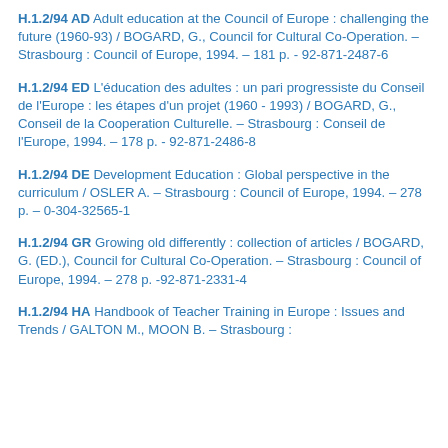H.1.2/94 AD Adult education at the Council of Europe : challenging the future (1960-93) / BOGARD, G., Council for Cultural Co-Operation. – Strasbourg : Council of Europe, 1994. – 181 p. - 92-871-2487-6
H.1.2/94 ED L'éducation des adultes : un pari progressiste du Conseil de l'Europe : les étapes d'un projet (1960 - 1993) / BOGARD, G., Conseil de la Cooperation Culturelle. – Strasbourg : Conseil de l'Europe, 1994. – 178 p. - 92-871-2486-8
H.1.2/94 DE Development Education : Global perspective in the curriculum / OSLER A. – Strasbourg : Council of Europe, 1994. – 278 p. – 0-304-32565-1
H.1.2/94 GR Growing old differently : collection of articles / BOGARD, G. (ED.), Council for Cultural Co-Operation. – Strasbourg : Council of Europe, 1994. – 278 p. -92-871-2331-4
H.1.2/94 HA Handbook of Teacher Training in Europe : Issues and Trends / GALTON M., MOON B. – Strasbourg :